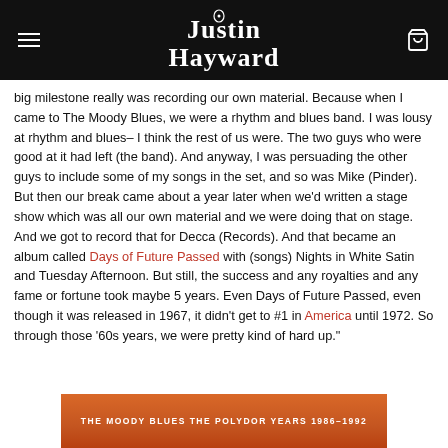Justin Hayward
big milestone really was recording our own material. Because when I came to The Moody Blues, we were a rhythm and blues band. I was lousy at rhythm and blues– I think the rest of us were. The two guys who were good at it had left (the band). And anyway, I was persuading the other guys to include some of my songs in the set, and so was Mike (Pinder). But then our break came about a year later when we'd written a stage show which was all our own material and we were doing that on stage. And we got to record that for Decca (Records). And that became an album called Days of Future Passed with (songs) Nights in White Satin and Tuesday Afternoon. But still, the success and any royalties and any fame or fortune took maybe 5 years. Even Days of Future Passed, even though it was released in 1967, it didn't get to #1 in America until 1972. So through those '60s years, we were pretty kind of hard up."
[Figure (photo): Album cover showing THE MOODY BLUES THE POLYDOR YEARS 1986-1992 in white text on orange/brown background]